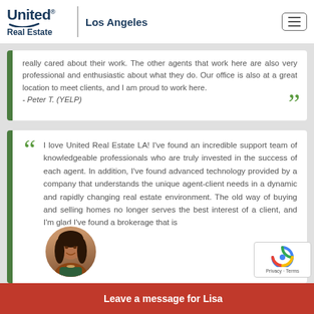United Real Estate | Los Angeles
really cared about their work. The other agents that work here are also very professional and enthusiastic about what they do. Our office is also at a great location to meet clients, and I am proud to work here. - Peter T. (YELP)
I love United Real Estate LA! I've found an incredible support team of knowledgeable professionals who are truly invested in the success of each agent. In addition, I've found advanced technology provided by a company that understands the unique agent-client needs in a dynamic and rapidly changing real estate environment. The old way of buying and selling homes no longer serves the best interest of a client, and I'm glad I've found a brokerage that is
Leave a message for Lisa